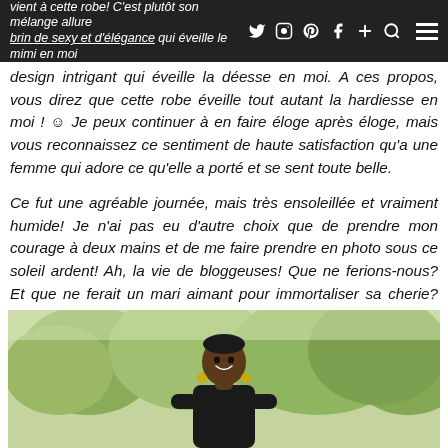vient à cette robe! C'est plutôt son mélange allure brin de sexy et d'élégance qui éveille le mimi en moi
design intrigant qui éveille la déesse en moi. A ces propos, vous direz que cette robe éveille tout autant la hardiesse en moi ! ☺ Je peux continuer à en faire éloge après éloge, mais vous reconnaissez ce sentiment de haute satisfaction qu'a une femme qui adore ce qu'elle a porté et se sent toute belle.

Ce fut une agréable journée, mais très ensoleillée et vraiment humide! Je n'ai pas eu d'autre choix que de prendre mon courage à deux mains et de me faire prendre en photo sous ce soleil ardent! Ah, la vie de bloggeuses! Que ne ferions-nous? Et que ne ferait un mari aimant pour immortaliser sa cherie? Merci bébé !  ☺
[Figure (photo): A woman smiling outdoors with green trees in the background, photographed on a sunny day.]